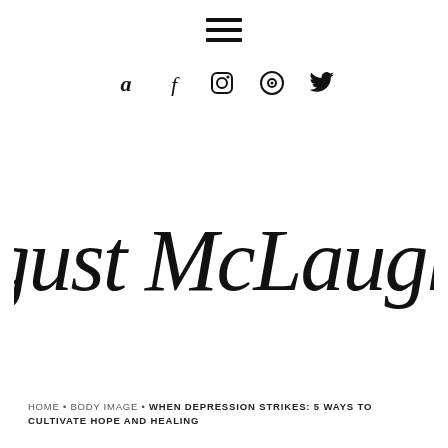[Figure (other): Hamburger menu icon (three horizontal lines) centered at top of page]
[Figure (other): Social media icons row: Amazon, Facebook, Instagram, Podcast, Twitter]
August McLaughlin
HOME • BODY IMAGE • WHEN DEPRESSION STRIKES: 5 WAYS TO CULTIVATE HOPE AND HEALING